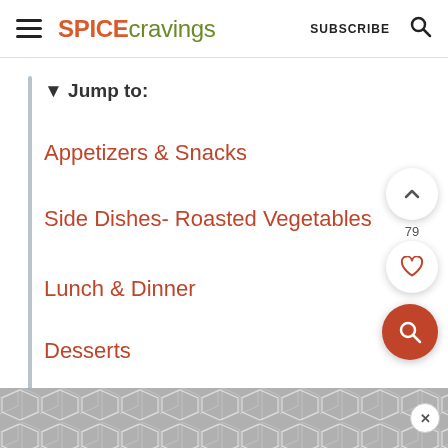SPICEcravings  SUBSCRIBE  🔍
▼ Jump to:
Appetizers & Snacks
Side Dishes- Roasted Vegetables
Lunch & Dinner
Desserts
Frequently Asked Questions
[Figure (other): Ad banner with geometric hexagon/chevron pattern in grey tones at bottom of page with X close button]